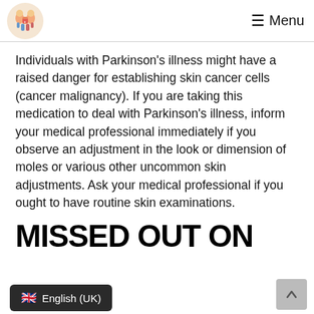Menu
Individuals with Parkinson's illness might have a raised danger for establishing skin cancer cells (cancer malignancy). If you are taking this medication to deal with Parkinson's illness, inform your medical professional immediately if you observe an adjustment in the look or dimension of moles or various other uncommon skin adjustments. Ask your medical professional if you ought to have routine skin examinations.
MISSED OUT ON
English (UK)